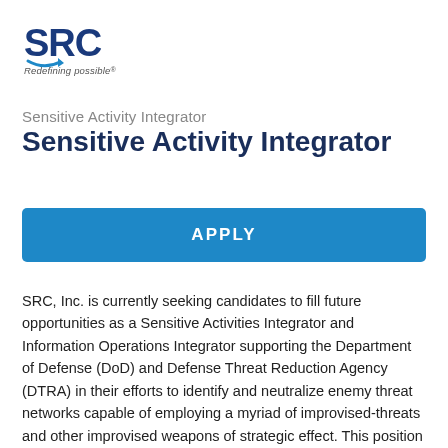[Figure (logo): SRC Inc. logo with text 'SRC' in blue letters and tagline 'Redefining possible']
Sensitive Activity Integrator
APPLY
SRC, Inc. is currently seeking candidates to fill future opportunities as a Sensitive Activities Integrator and Information Operations Integrator supporting the Department of Defense (DoD) and Defense Threat Reduction Agency (DTRA) in their efforts to identify and neutralize enemy threat networks capable of employing a myriad of improvised-threats and other improvised weapons of strategic effect. This position will be located in Herndon, VA area, with the potential for extended deployments overseas.